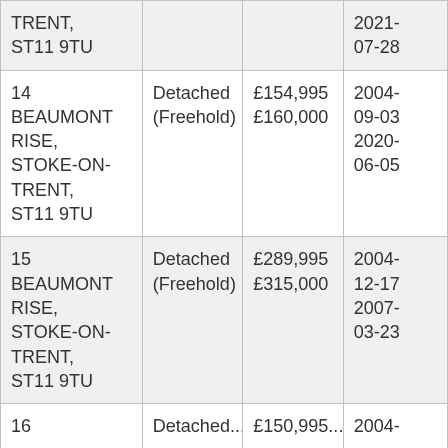| Address | Type | Price | Date |
| --- | --- | --- | --- |
| TRENT, ST11 9TU |  |  | 2021-07-28 |
| 14 BEAUMONT RISE, STOKE-ON-TRENT, ST11 9TU | Detached (Freehold) | £154,995 £160,000 | 2004-09-03 2020-06-05 |
| 15 BEAUMONT RISE, STOKE-ON-TRENT, ST11 9TU | Detached (Freehold) | £289,995 £315,000 | 2004-12-17 2007-03-23 |
| 16... | Detached... | £150,995... | 2004-... |